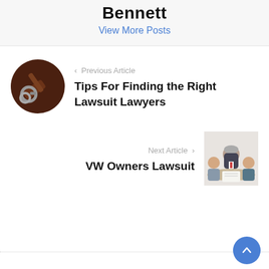Bennett
View More Posts
‹  Previous Article
[Figure (photo): Circular photo of a gavel and handcuffs on a dark surface]
Tips For Finding the Right Lawsuit Lawyers
Next Article  ›
VW Owners Lawsuit
[Figure (photo): Circular photo of a businessman in a suit at a meeting table]